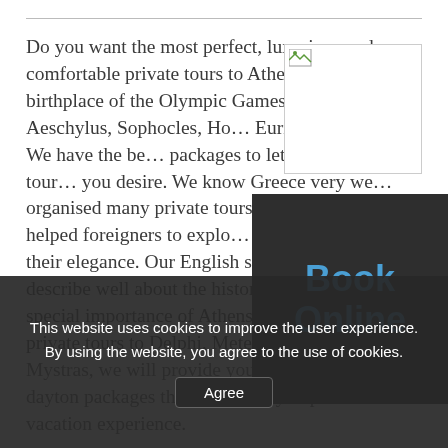Do you want the most perfect, luxurious and comfortable private tours to Athens in Greece - the birthplace of the Olympic Games, Democracy, Aeschylus, Sophocles, Ho… Euripides and more? We have the be… packages to let you cover every tour… you desire. We know Greece very we… organised many private tours all acr… mainland, helped foreigners to expl… ancient locations and their elegance. Our English speaking guides can describe well about the history, myths, and the special importance of Athens as a whole! From private tours to Delphi, Meteora and Olympia to Mystras, we will provide you interesting on… dayton packages that will bring you perfect vacation experience.
[Figure (photo): Broken/unloaded image placeholder with small image icon in top-left corner, white background with border.]
[Figure (other): Dark charcoal box with 'Book Online' text in blue.]
This website uses cookies to improve the user experience. By using the website, you agree to the use of cookies.